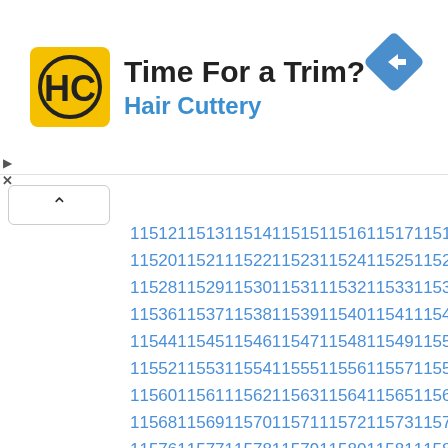[Figure (logo): Hair Cuttery advertisement banner with logo, text 'Time For a Trim?' and 'Hair Cuttery', plus a blue navigation diamond icon]
| 11512 | 11513 | 11514 | 11515 | 11516 | 11517 | 11518 | 11519 |
| 11520 | 11521 | 11522 | 11523 | 11524 | 11525 | 11526 | 11527 |
| 11528 | 11529 | 11530 | 11531 | 11532 | 11533 | 11534 | 11535 |
| 11536 | 11537 | 11538 | 11539 | 11540 | 11541 | 11542 | 11543 |
| 11544 | 11545 | 11546 | 11547 | 11548 | 11549 | 11550 | 11551 |
| 11552 | 11553 | 11554 | 11555 | 11556 | 11557 | 11558 | 11559 |
| 11560 | 11561 | 11562 | 11563 | 11564 | 11565 | 11566 | 11567 |
| 11568 | 11569 | 11570 | 11571 | 11572 | 11573 | 11574 | 11575 |
| 11576 | 11577 | 11578 | 11579 | 11580 | 11581 | 11582 | 11583 |
| 11584 | 11585 | 11586 | 11587 | 11588 | 11589 | 11590 | 11591 |
| 11592 | 11593 | 11594 | 11595 | 11596 | 11597 | 11598 | 11599 |
| 11600 | 11601 | 11602 | 11603 | 11604 | 11605 | 11606 | 11607 |
| 11608 | 11609 | 11610 | 11611 | 11612 | 11613 | 11614 | 11615 |
| 11616 | 11617 | 11618 | 11619 | 11620 | 11621 | 11622 | 11623 |
| 11624 | 11625 | 11626 | 11627 | 11628 | 11629 | 11630 | 11631 |
| 11632 | 11633 | 11634 | 11635 | 11636 | 11637 | 11638 | 11639 |
| 11640 | 11641 | 11642 | 11643 | 11644 | 11645 | 11646 | 11647 |
| 11648 | 11649 | 11650 | 11651 | 11652 | 11653 | 11654 | 11655 |